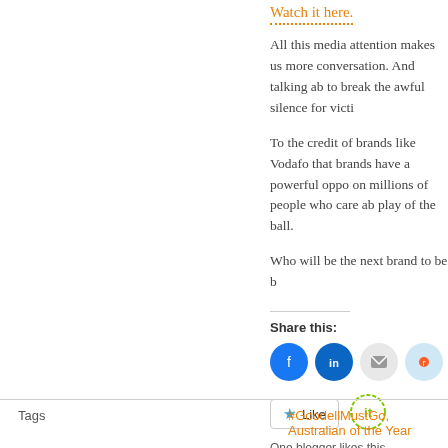Watch it here.
All this media attention makes us more conversation. And talking ab to break the awful silence for victi
To the credit of brands like Vodafo that brands have a powerful oppo on millions of people who care ab play of the ball.
Who will be the next brand to be b
Share this:
[Figure (infographic): Social sharing icons: Facebook, LinkedIn, Email, Reddit, Tumblr, Pinterest]
[Figure (infographic): Like button and one blogger avatar icon]
One blogger likes this.
Tags   #GoodellMustGo, Australian of the Year